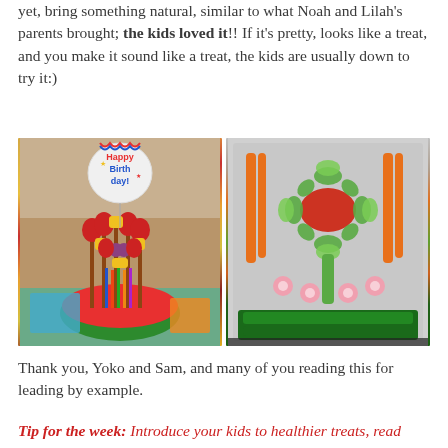yet, bring something natural, similar to what Noah and Lilah's parents brought; the kids loved it!! If it's pretty, looks like a treat, and you make it sound like a treat, the kids are usually down to try it:)
[Figure (photo): Two photos side by side: left photo shows a fruit bouquet arrangement with strawberries, grapes, pineapple on skewers in a watermelon base with a Happy Birthday balloon; right photo shows a vegetable tray arranged as a flower with cucumber slices, carrots, radishes, snap peas and celery.]
Thank you, Yoko and Sam, and many of you reading this for leading by example.
Tip for the week: Introduce your kids to healthier treats, read...